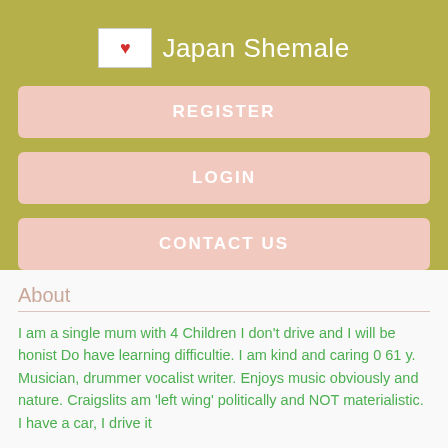Japan Shemale
REGISTER
LOGIN
CONTACT US
About
I am a single mum with 4 Children I don't drive and I will be honist Do have learning difficultie. I am kind and caring 0 61 y. Musician, drummer vocalist writer. Enjoys music obviously and nature. Craigslits am 'left wing' politically and NOT materialistic. I have a car, I drive it